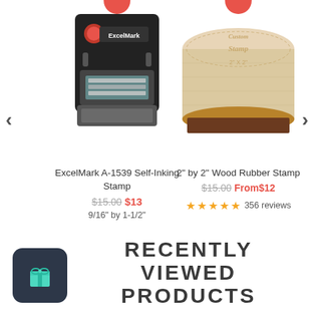[Figure (photo): ExcelMark A-1539 Self-Inking Stamp product photo - black self-inking stamp with ExcelMark branding and red button]
ExcelMark A-1539 Self-Inking Stamp
$15.00 $13
9/16" by 1-1/2"
★★★★★ 450 reviews
[Figure (photo): 2 inch by 2 inch Wood Rubber Stamp product photo - wooden block stamp with 'Custom Stamp 2x2' engraving]
2" by 2" Wood Rubber Stamp
$15.00 From$12
★★★★★ 356 reviews
RECENTLY VIEWED PRODUCTS
[Figure (logo): Dark square icon with rounded corners containing a teal/mint gift box icon]